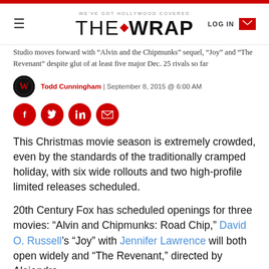WE'VE GOT HOLLYWOOD COVERED | THE WRAP | LOG IN
Studio moves forward with “Alvin and the Chipmunks” sequel, “Joy” and “The Revenant” despite glut of at least five major Dec. 25 rivals so far
Todd Cunningham | September 8, 2015 @ 6:00 AM
[Figure (infographic): Social share icons: Facebook, Twitter, LinkedIn, Email]
This Christmas movie season is extremely crowded, even by the standards of the traditionally cramped holiday, with six wide rollouts and two high-profile limited releases scheduled.
20th Century Fox has scheduled openings for three movies: “Alvin and Chipmunks: Road Chip,” David O. Russell’s “Joy” with Jennifer Lawrence will both open widely and “The Revenant,” directed by Alejandro